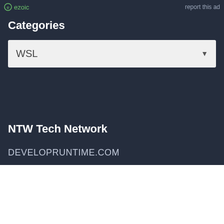ezoic   report this ad
Categories
WSL
NTW Tech Network
DEVELOPRUNTIME.COM